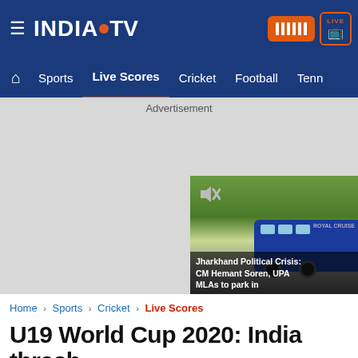India TV - LIVE
Home | Sports | Live Scores | Cricket | Football | Tennis
Advertisement
[Figure (screenshot): Video thumbnail showing a bus and text 'Jharkhand Political Crisis: CM Hemant Soren, UPA MLAs to park in']
Home › Sports › Cricket › Live Scores
U19 World Cup 2020: India thrash